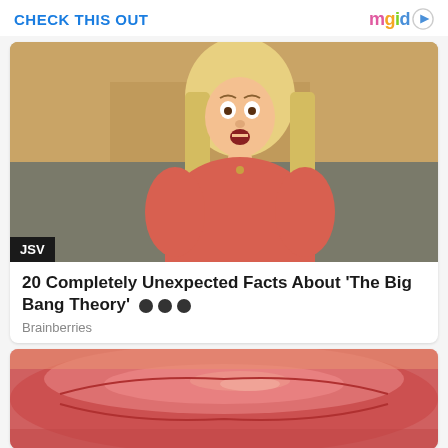CHECK THIS OUT
[Figure (logo): mgid logo with colorful letters and play button triangle]
[Figure (photo): Blonde woman in red/pink top looking surprised, with 'JSV' badge in bottom-left corner. Still from The Big Bang Theory TV show.]
20 Completely Unexpected Facts About 'The Big Bang Theory'
Brainberries
[Figure (photo): Close-up macro photo of lips/mouth, pink/red skin texture]